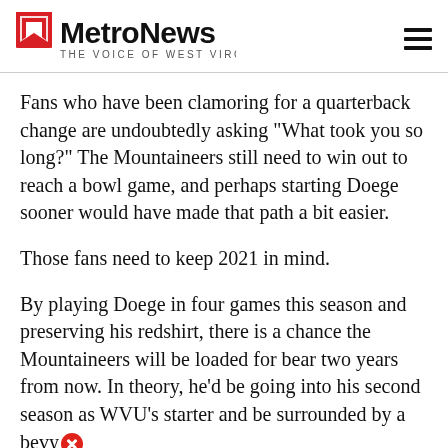MetroNews — THE VOICE OF WEST VIRGINIA
Fans who have been clamoring for a quarterback change are undoubtedly asking "What took you so long?" The Mountaineers still need to win out to reach a bowl game, and perhaps starting Doege sooner would have made that path a bit easier.
Those fans need to keep 2021 in mind.
By playing Doege in four games this season and preserving his redshirt, there is a chance the Mountaineers will be loaded for bear two years from now. In theory, he'd be going into his second season as WVU's starter and be surrounded by a bevy of veteran [close button] se — Sam [cut off] gs